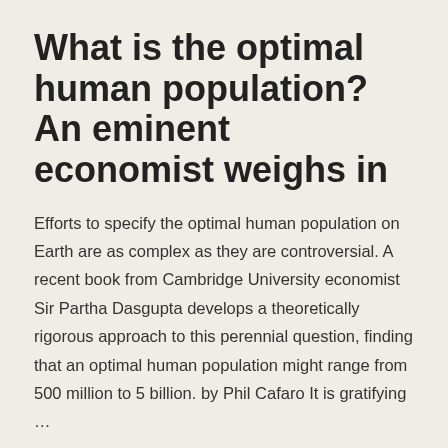What is the optimal human population? An eminent economist weighs in
Efforts to specify the optimal human population on Earth are as complex as they are controversial. A recent book from Cambridge University economist Sir Partha Dasgupta develops a theoretically rigorous approach to this perennial question, finding that an optimal human population might range from 500 million to 5 billion. by Phil Cafaro It is gratifying …
Continue reading